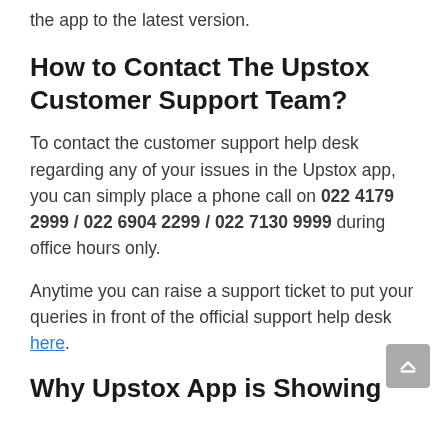the app to the latest version.
How to Contact The Upstox Customer Support Team?
To contact the customer support help desk regarding any of your issues in the Upstox app, you can simply place a phone call on 022 4179 2999 / 022 6904 2299 / 022 7130 9999 during office hours only.
Anytime you can raise a support ticket to put your queries in front of the official support help desk here.
Why Upstox App is Showing